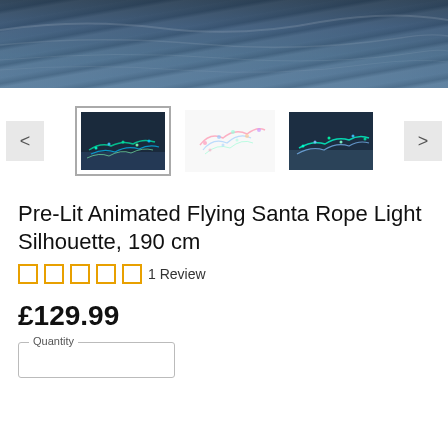[Figure (photo): Top portion of a product image showing dark blue/teal water or night sky texture, cropped at the top of the page]
[Figure (photo): Thumbnail carousel with left/right navigation arrows and three product thumbnails: (1) selected thumbnail with border showing illuminated Santa rope light silhouette on dark background, (2) center thumbnail showing rope light figure on white background, (3) third thumbnail showing illuminated Santa rope light from different angle]
Pre-Lit Animated Flying Santa Rope Light Silhouette, 190 cm
1 Review
£129.99
Quantity